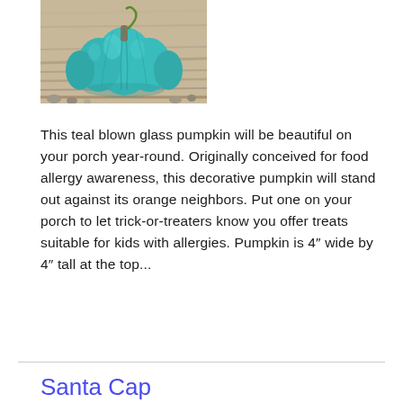[Figure (photo): A teal/turquoise blown glass pumpkin sitting on natural wooden sticks or driftwood with small pebbles visible around it.]
This teal blown glass pumpkin will be beautiful on your porch year-round. Originally conceived for food allergy awareness, this decorative pumpkin will stand out against its orange neighbors. Put one on your porch to let trick-or-treaters know you offer treats suitable for kids with allergies. Pumpkin is 4″ wide by 4″ tall at the top...
Read More
Santa Cap